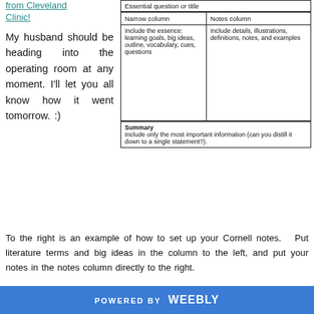from Cleveland Clinic!
My husband should be heading into the operating room at any moment. I'll let you all know how it went tomorrow. :)
| Essential question or title |
| --- |
| Narrow column | Notes column |
| Include the essence: learning goals, big ideas, outline, vocabulary, cues, questions | Include details, illustrations, definitions, notes, and examples |
|  |  |
| Summary
Include only the most important information (can you distill it down to a single statement?). |
To the right is an example of how to set up your Cornell notes.   Put literature terms and big ideas in the column to the left, and put your notes in the notes column directly to the right.
POWERED BY weebly